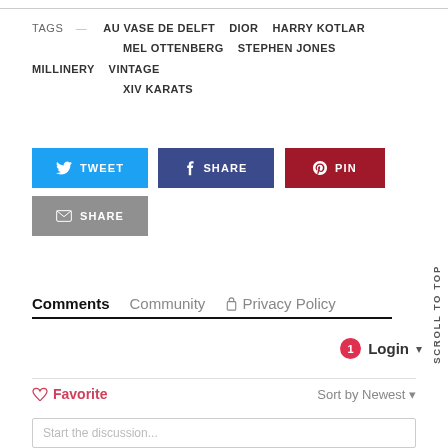TAGS — AU VASE DE DELFT   DIOR   HARRY KOTLAR   MEL OTTENBERG   STEPHEN JONES MILLINERY   VINTAGE   XIV KARATS
[Figure (other): Social share buttons: TWEET (Twitter/blue), SHARE (Facebook/dark blue), PIN (Pinterest/dark red), SHARE (Email/gray)]
Comments   Community   🔒 Privacy Policy
SCROLL TO TOP
1  Login ▾
♡ Favorite     Sort by Newest ▾
Start the discussion...